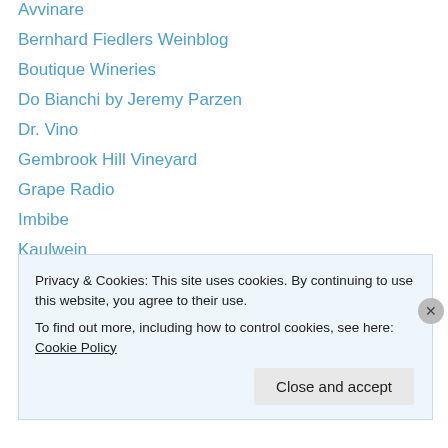Avvinare
Bernhard Fiedlers Weinblog
Boutique Wineries
Do Bianchi by Jeremy Parzen
Dr. Vino
Gembrook Hill Vineyard
Grape Radio
Imbibe
Kaulwein
Old England Hotel
Riesling Forum
The French Wench
the winegetter
Privacy & Cookies: This site uses cookies. By continuing to use this website, you agree to their use.
To find out more, including how to control cookies, see here: Cookie Policy
Close and accept